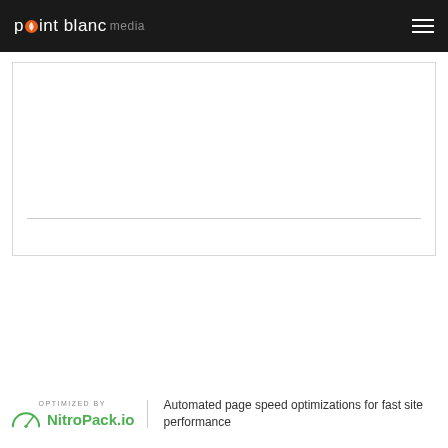point blanc media
[Figure (other): White content card / embed placeholder with a horizontal divider line near the bottom]
[Figure (logo): NitroPack.io logo with arc speedometer icon and 'OPTIMIZED BY' label above, followed by text: Automated page speed optimizations for fast site performance]